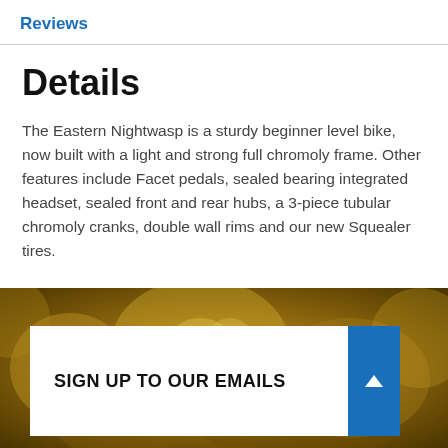Reviews
Details
The Eastern Nightwasp is a sturdy beginner level bike, now built with a light and strong full chromoly frame. Other features include Facet pedals, sealed bearing integrated headset, sealed front and rear hubs, a 3-piece tubular chromoly cranks, double wall rims and our new Squealer tires.
[Figure (photo): Outdoor autumn/golden foliage background image used as banner for email signup section]
SIGN UP TO OUR EMAILS